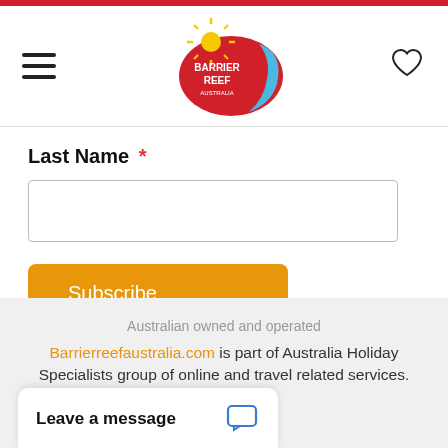[Figure (logo): Barrier Reef Australia logo — colorful map of Australia shape with sun, text BARRIER REEF AUSTRALIA]
Last Name *
Australian owned and operated
Barrierreefaustralia.com is part of Australia Holiday Specialists group of online and travel related services.
Leave a message